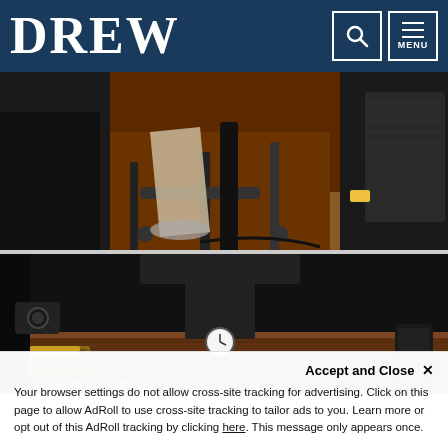DREW
[Figure (photo): Low-angle photo of chairs, equipment legs, and a speaker on a wooden floor with orange/brown walls in the background — appears to be a music or performance room.]
[Figure (photo): Low-angle interior photo showing staging or podium area with a large dark cross or T-shaped structure, a chandelier with warm lights, a clock, wooden furniture, and a smartphone on the right.]
Accept and Close ✕
Your browser settings do not allow cross-site tracking for advertising. Click on this page to allow AdRoll to use cross-site tracking to tailor ads to you. Learn more or opt out of this AdRoll tracking by clicking here. This message only appears once.